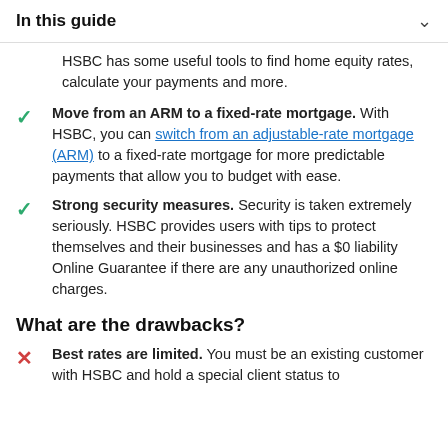In this guide
HSBC has some useful tools to find home equity rates, calculate your payments and more.
Move from an ARM to a fixed-rate mortgage. With HSBC, you can switch from an adjustable-rate mortgage (ARM) to a fixed-rate mortgage for more predictable payments that allow you to budget with ease.
Strong security measures. Security is taken extremely seriously. HSBC provides users with tips to protect themselves and their businesses and has a $0 liability Online Guarantee if there are any unauthorized online charges.
What are the drawbacks?
Best rates are limited. You must be an existing customer with HSBC and hold a special client status to